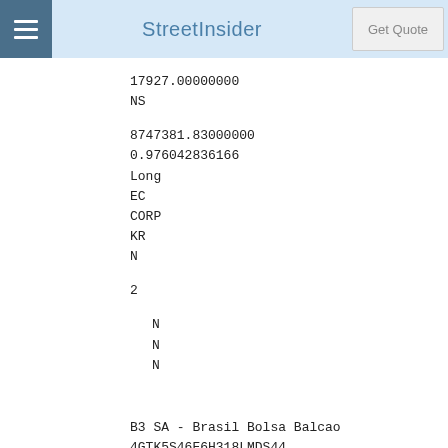StreetInsider | Get Quote
17927.00000000
NS

8747381.83000000
0.976042836166
Long
EC
CORP
KR
N

2

N
N
N


B3 SA - Brasil Bolsa Balcao
4GTK5S46E6H318LMDS44